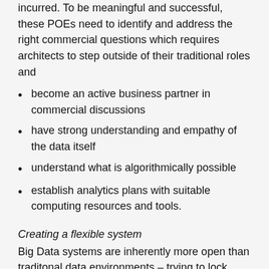incurred. To be meaningful and successful, these POEs need to identify and address the right commercial questions which requires architects to step outside of their traditional roles and
become an active business partner in commercial discussions
have strong understanding and empathy of the data itself
understand what is algorithmically possible
establish analytics plans with suitable computing resources and tools.
Creating a flexible system
Big Data systems are inherently more open than traditonal data environments – trying to lock them down “old school” will destroy the gains that agile developers can extract. This requires fresh thinking on
how to manage internal and external data and its